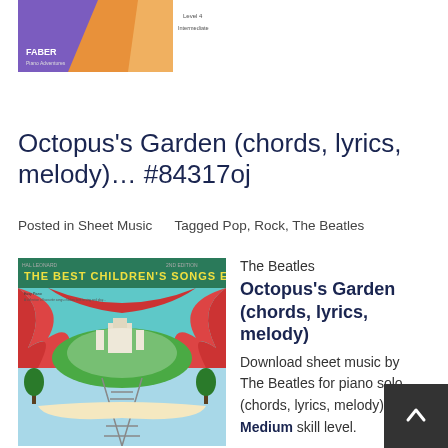[Figure (photo): Top portion of a book cover with purple/orange geometric design, showing 'Faber' branding and 'Level 4 Intermediate' text]
Octopus's Garden (chords, lyrics, melody)… #84317oj
Posted in Sheet Music     Tagged Pop, Rock, The Beatles
[Figure (photo): Book cover of 'The Best Children's Songs Ever' showing a fantasy illustration with a castle, red curtain/drapes, train tracks, and misty background]
The Beatles
Octopus's Garden (chords, lyrics, melody)
Download sheet music by The Beatles for piano solo (chords, lyrics, melody).
Medium skill level.